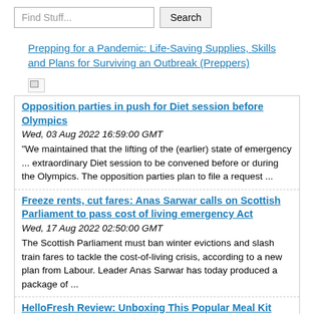Find Stuff... Search
Prepping for a Pandemic: Life-Saving Supplies, Skills and Plans for Surviving an Outbreak (Preppers)
[Figure (other): Broken image placeholder]
Opposition parties in push for Diet session before Olympics
Wed, 03 Aug 2022 16:59:00 GMT
“We maintained that the lifting of the (earlier) state of emergency ... extraordinary Diet session to be convened before or during the Olympics. The opposition parties plan to file a request ...
Freeze rents, cut fares: Anas Sarwar calls on Scottish Parliament to pass cost of living emergency Act
Wed, 17 Aug 2022 02:50:00 GMT
The Scottish Parliament must ban winter evictions and slash train fares to tackle the cost-of-living crisis, according to a new plan from Labour. Leader Anas Sarwar has today produced a package of ...
HelloFresh Review: Unboxing This Popular Meal Kit Delivery Service
Tue, 19 Jul 2022 20:16:00 GMT
active military members and veterans HelloFresh is a mainstay